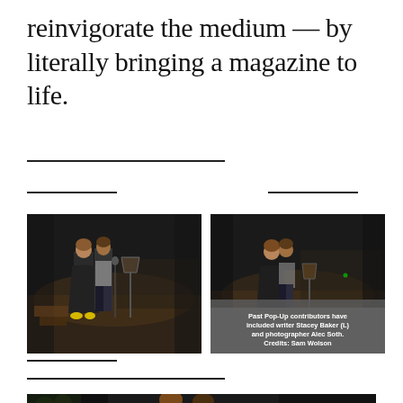reinvigorate the medium — by literally bringing a magazine to life.
[Figure (photo): Two performers standing on a stage with a music stand, orchestra in background, dark theater setting]
[Figure (photo): Same two performers on stage, with caption overlay reading: Past Pop-Up contributors have included writer Stacey Baker (L) and photographer Alec Soth. Credits: Sam Wolson]
Past Pop-Up contributors have included writer Stacey Baker (L) and photographer Alec Soth. Credits: Sam Wolson
[Figure (photo): Close-up of two people on stage, partially cropped at bottom of page]